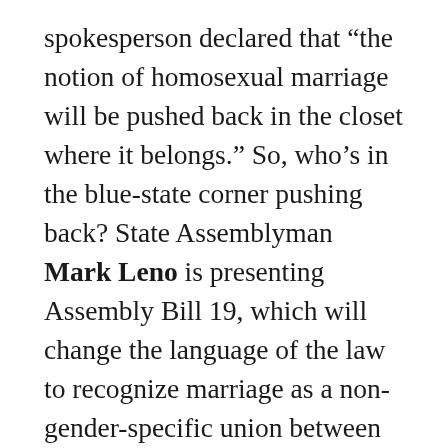spokesperson declared that “the notion of homosexual marriage will be pushed back in the closet where it belongs.” So, who’s in the blue-state corner pushing back? State Assemblyman Mark Leno is presenting Assembly Bill 19, which will change the language of the law to recognize marriage as a non-gender-specific union between two people. His press conference was held the next day, and the title of the bill is: the Religious Freedom and Civil Marriage Protection Act. Bites is always on the side of